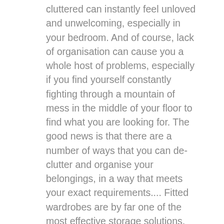cluttered can instantly feel unloved and unwelcoming, especially in your bedroom. And of course, lack of organisation can cause you a whole host of problems, especially if you find yourself constantly fighting through a mountain of mess in the middle of your floor to find what you are looking for. The good news is that there are a number of ways that you can de-clutter and organise your belongings, in a way that meets your exact requirements.... Fitted wardrobes are by far one of the most effective storage solutions, especially when it comes to optimising space, efficiency and function in your room. We've created a list outlining 3 reasons why you should invest in fitted wardrobes! Maximise space A girl can never have enough shoes, accessories or clothing, right? However,